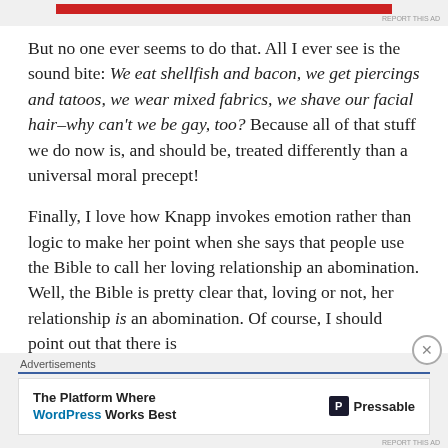[Figure (other): Top advertisement banner with red color bar and 'REPORT THIS AD' text]
But no one ever seems to do that. All I ever see is the sound bite: We eat shellfish and bacon, we get piercings and tatoos, we wear mixed fabrics, we shave our facial hair–why can't we be gay, too? Because all of that stuff we do now is, and should be, treated differently than a universal moral precept!
Finally, I love how Knapp invokes emotion rather than logic to make her point when she says that people use the Bible to call her loving relationship an abomination. Well, the Bible is pretty clear that, loving or not, her relationship is an abomination. Of course, I should point out that there is
[Figure (other): Bottom advertisement: 'Advertisements' label above a white ad box. Ad reads 'The Platform Where WordPress Works Best' with Pressable logo on the right. Close button (X in circle) in top right corner.]